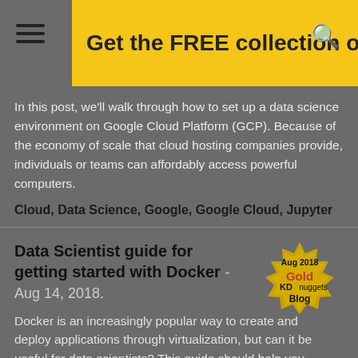Get the FREE collection of 50+
In this post, we'll walk through how to set up a data science environment on Google Cloud Platform (GCP). Because of the economy of scale that cloud hosting companies provide, individuals or teams can affordably access powerful computers.
Cloud, Data Science, Google, Google Cloud, Jupyter
Data Scientist guide for getting started with Docker - Aug 14, 2018.
Docker is an increasingly popular way to create and deploy applications through virtualization, but can it be useful for data scientists? This guide should help you quickly get started.
[Figure (illustration): Gold badge/seal graphic reading 'Aug 2018 Gold KD nuggets Blog']
Data Science, Data Scientist, Docker, Jupyter
KDnuggets™ News 18:n29, Aug 1: Building an